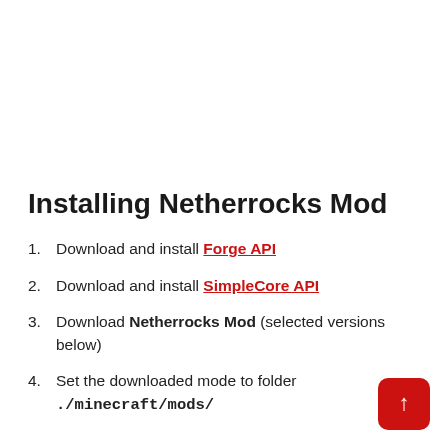Installing Netherrocks Mod
Download and install Forge API
Download and install SimpleCore API
Download Netherrocks Mod (selected versions below)
Set the downloaded mode to folder ./minecraft/mods/